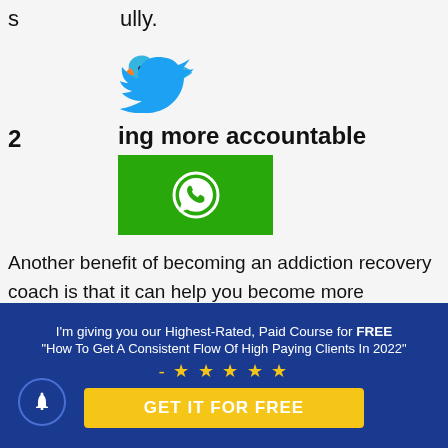s  ully.
[Figure (logo): Twitter bird icon in blue]
2  ing more accountable
[Figure (logo): WhatsApp icon on green background]
Another benefit of becoming an addiction recovery coach is that it can help you become more accountable. As a coach, you will be responsible for helping your clients stay on track with their recovery goals. This means that
I'm giving you our Highest-Rated, Paid Course for FREE
"How To Get A Consistent Flow Of High Paying Clients In 2022"
- ★ ★ ★ ★ ★
GET IT FOR FREE